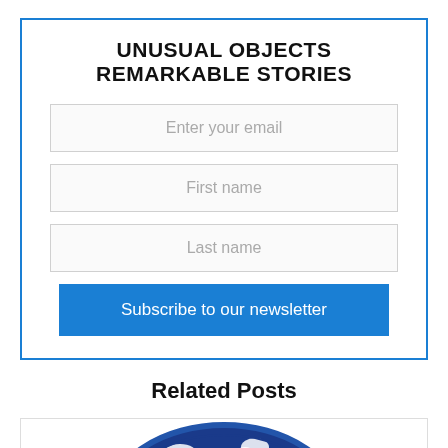UNUSUAL OBJECTS REMARKABLE STORIES
Enter your email
First name
Last name
Subscribe to our newsletter
Related Posts
[Figure (photo): Blue and white decorative plate, partially visible, cropped at bottom of page]